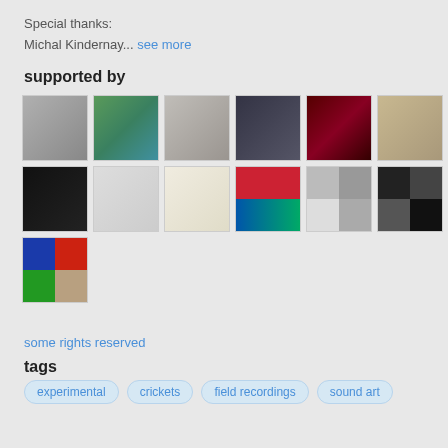Special thanks:
Michal Kindernay... see more
supported by
[Figure (photo): Grid of supporter avatar thumbnails, 3 rows of up to 6 small square images each]
some rights reserved
tags
experimental
crickets
field recordings
sound art